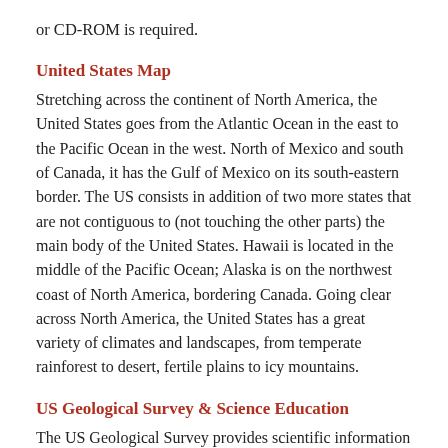or CD-ROM is required.
United States Map
Stretching across the continent of North America, the United States goes from the Atlantic Ocean in the east to the Pacific Ocean in the west. North of Mexico and south of Canada, it has the Gulf of Mexico on its south-eastern border. The US consists in addition of two more states that are not contiguous to (not touching the other parts) the main body of the United States. Hawaii is located in the middle of the Pacific Ocean; Alaska is on the northwest coast of North America, bordering Canada. Going clear across North America, the United States has a great variety of climates and landscapes, from temperate rainforest to desert, fertile plains to icy mountains.
US Geological Survey & Science Education
The US Geological Survey provides scientific information intended to help educate the public